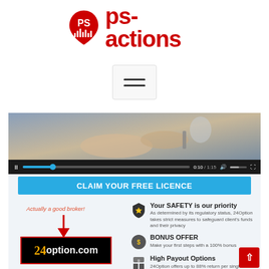[Figure (logo): ps-actions logo: red teardrop/shield shape with PS letters and bar chart inside, followed by red bold text 'ps-actions']
[Figure (screenshot): Screenshot of a website showing a video player with a hand pointing gesture, a 'CLAIM YOUR FREE LICENCE' blue button, and broker features including '24option.com' annotated as 'Actually a good broker!' with a red arrow, and three feature rows: 'Your SAFETY is our priority', 'BONUS OFFER', 'High Payout Options']
Actually a good broker!
CLAIM YOUR FREE LICENCE
Your SAFETY is our priority
As determined by its regulatory status, 24Option takes strict measures to safeguard client's funds and their privacy
BONUS OFFER
Make your first steps with a 100% bonus
High Payout Options
24Option offers up to 88% return per single trade!